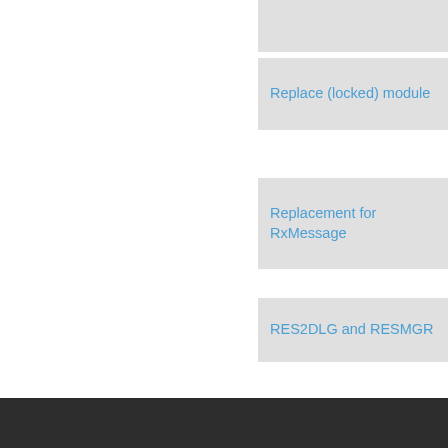Replace (locked) module
Replacement for RxMessage
RES2DLG and RESMGR
Translate to...
English